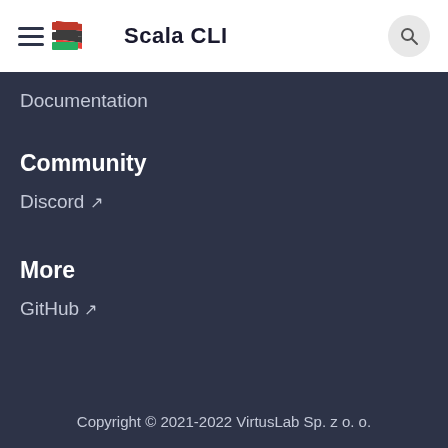Scala CLI
Documentation
Community
Discord ↗
More
GitHub ↗
Copyright © 2021-2022 VirtusLab Sp. z o. o.